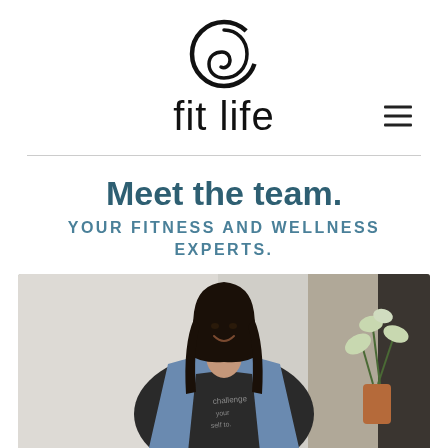[Figure (logo): Fit Life logo: circular arc/swirl icon in black above the wordmark 'fit life' in lowercase]
Meet the team.
YOUR FITNESS AND WELLNESS EXPERTS.
[Figure (photo): A smiling woman with dark hair wearing a denim jacket over a dark t-shirt with script text, standing in an indoor setting with a plant in a terracotta vase visible in the background.]